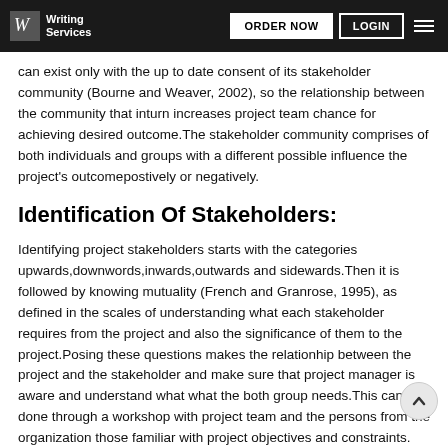Writing Services | ORDER NOW | LOGIN
can exist only with the up to date consent of its stakeholder community (Bourne and Weaver, 2002), so the relationship between the community that inturn increases project team chance for achieving desired outcome.The stakeholder community comprises of both individuals and groups with a different possible influence the project's outcomepostively or negatively.
Identification Of Stakeholders:
Identifying project stakeholders starts with the categories upwards,downwords,inwards,outwards and sidewards.Then it is followed by knowing mutuality (French and Granrose, 1995), as defined in the scales of understanding what each stakeholder requires from the project and also the significance of them to the project.Posing these questions makes the relationhip between the project and the stakeholder and make sure that project manager is aware and understand what what the both group needs.This can be done through a workshop with project team and the persons from the organization those familiar with project objectives and constraints. The information obtained can be